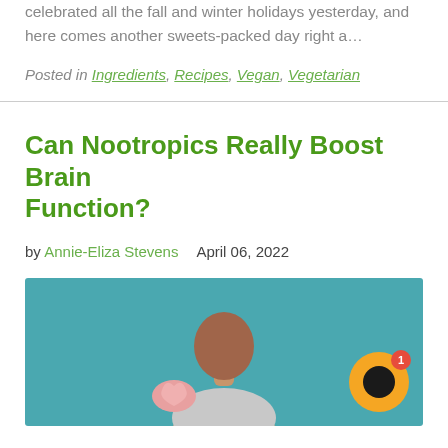celebrated all the fall and winter holidays yesterday, and here comes another sweets-packed day right a…
Posted in Ingredients, Recipes, Vegan, Vegetarian
Can Nootropics Really Boost Brain Function?
by Annie-Eliza Stevens   April 06, 2022
[Figure (photo): A man looking at a brain model on a teal background, with a yellow chat bubble button overlay in the bottom right corner showing a notification badge of 1.]